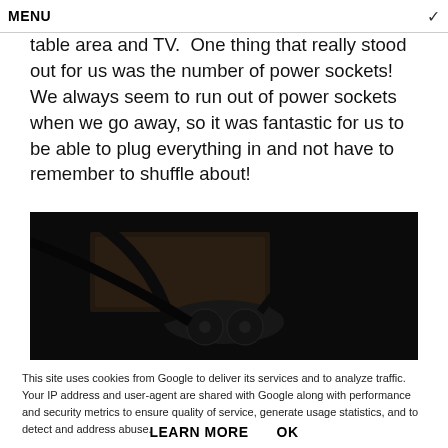MENU
table area and TV.  One thing that really stood out for us was the number of power sockets!  We always seem to run out of power sockets when we go away, so it was fantastic for us to be able to plug everything in and not have to remember to shuffle about!
[Figure (photo): Dark close-up photo of power sockets/plugs on a wooden surface]
This site uses cookies from Google to deliver its services and to analyze traffic. Your IP address and user-agent are shared with Google along with performance and security metrics to ensure quality of service, generate usage statistics, and to detect and address abuse.
LEARN MORE    OK